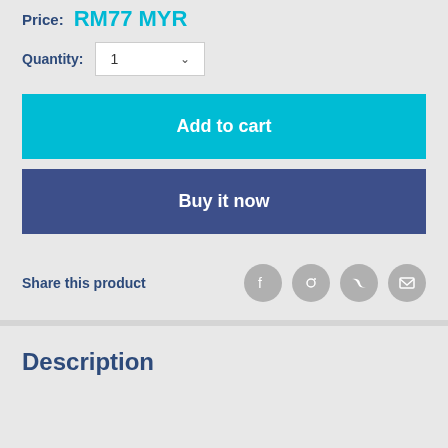Price: RM77 MYR
Quantity: 1
Add to cart
Buy it now
Share this product
Description